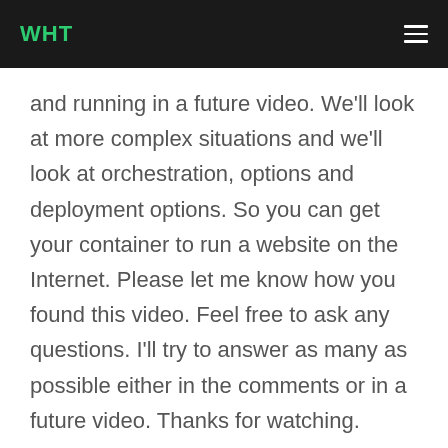WHT
and running in a future video. We'll look at more complex situations and we'll look at orchestration, options and deployment options. So you can get your container to run a website on the Internet. Please let me know how you found this video. Feel free to ask any questions. I'll try to answer as many as possible either in the comments or in a future video. Thanks for watching.